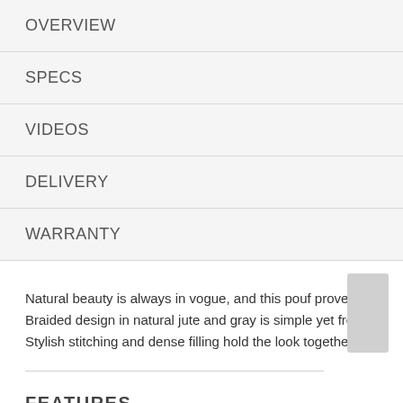OVERVIEW
SPECS
VIDEOS
DELIVERY
WARRANTY
Natural beauty is always in vogue, and this pouf proves it. Braided design in natural jute and gray is simple yet fresh. Stylish stitching and dense filling hold the look together.
FEATURES